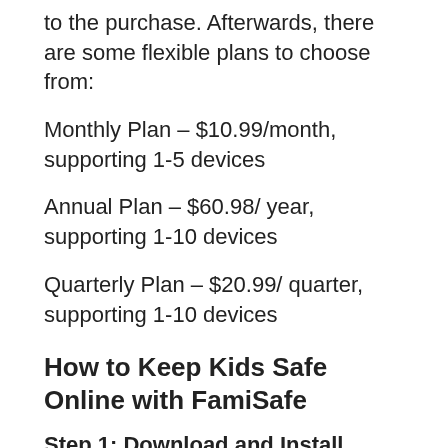to the purchase. Afterwards, there are some flexible plans to choose from:
Monthly Plan – $10.99/month, supporting 1-5 devices
Annual Plan – $60.98/ year, supporting 1-10 devices
Quarterly Plan – $20.99/ quarter, supporting 1-10 devices
How to Keep Kids Safe Online with FamiSafe
Step 1: Download and Install FamiSafe on your phone and FamiSafe Jr on your kids' phone. You can get FamiSafe from Google Play Store or Apple Store